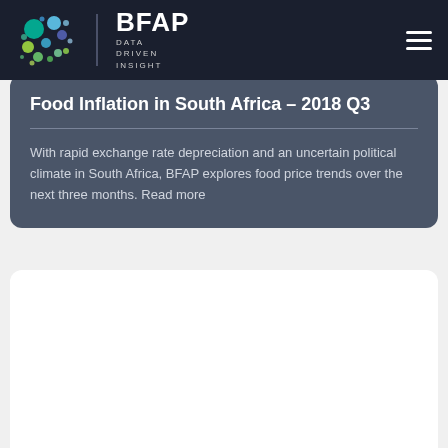[Figure (logo): BFAP Data Driven Insight logo with colorful dot cluster graphic and navigation bar with hamburger menu]
Food Inflation in South Africa – 2018 Q3
With rapid exchange rate depreciation and an uncertain political climate in South Africa, BFAP explores food price trends over the next three months. Read more